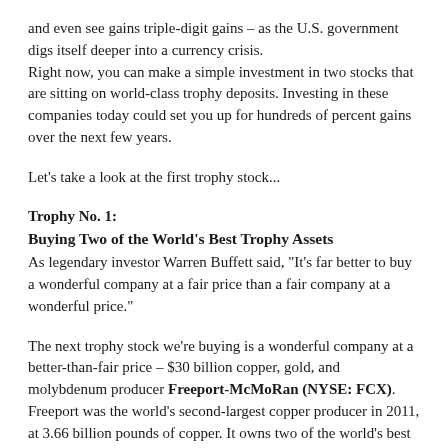and even see gains triple-digit gains – as the U.S. government digs itself deeper into a currency crisis.
Right now, you can make a simple investment in two stocks that are sitting on world-class trophy deposits. Investing in these companies today could set you up for hundreds of percent gains over the next few years.
Let's take a look at the first trophy stock...
Trophy No. 1:
Buying Two of the World's Best Trophy Assets
As legendary investor Warren Buffett said, "It's far better to buy a wonderful company at a fair price than a fair company at a wonderful price."
The next trophy stock we're buying is a wonderful company at a better-than-fair price – $30 billion copper, gold, and molybdenum producer Freeport-McMoRan (NYSE: FCX). Freeport was the world's second-largest copper producer in 2011, at 3.66 billion pounds of copper. It owns two of the world's best trophy assets: Grasberg and